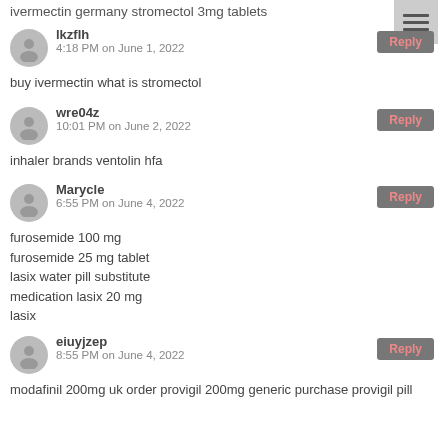ivermectin germany stromectol 3mg tablets
lkzflh
4:18 PM on June 1, 2022
buy ivermectin what is stromectol
wre04z
10:01 PM on June 2, 2022
inhaler brands ventolin hfa
Marycle
6:55 PM on June 4, 2022
furosemide 100 mg
furosemide 25 mg tablet
lasix water pill substitute
medication lasix 20 mg
lasix
eiuyjzep
8:55 PM on June 4, 2022
modafinil 200mg uk order provigil 200mg generic purchase provigil pill